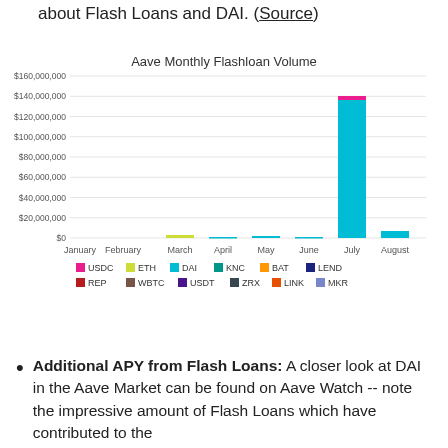about Flash Loans and DAI. (Source)
[Figure (stacked-bar-chart): Aave Monthly Flashloan Volume]
Additional APY from Flash Loans: A closer look at DAI in the Aave Market can be found on Aave Watch -- note the impressive amount of Flash Loans which have contributed to the...